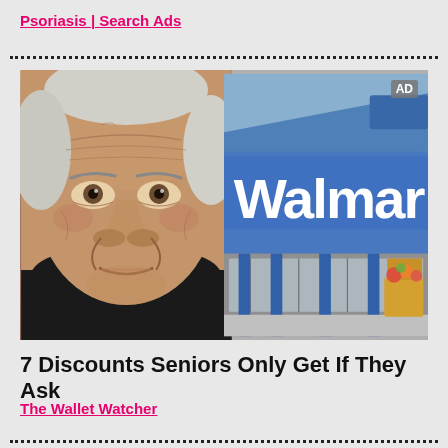Psoriasis | Search Ads
[Figure (photo): Composite image: left half shows close-up face of a very elderly man with deep wrinkles and white hair; right half shows a Walmart store exterior with large blue sign reading 'Walmar' (cropped), blue pillars, and entrance doors. An 'AD' badge appears in the top-right corner.]
7 Discounts Seniors Only Get If They Ask
The Wallet Watcher